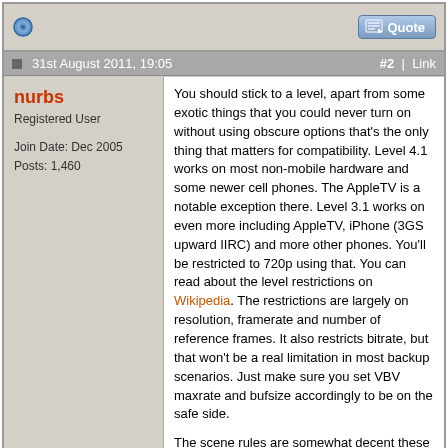[Figure (other): Forum post top bar with blue circle icon on left and Quote button on right]
31st August 2011, 19:05   #2 | Link
nurbs
Registered User

Join Date: Dec 2005
Posts: 1,460
You should stick to a level, apart from some exotic things that you could never turn on without using obscure options that's the only thing that matters for compatibility. Level 4.1 works on most non-mobile hardware and some newer cell phones. The AppleTV is a notable exception there. Level 3.1 works on even more including AppleTV, iPhone (3GS upward IIRC) and more other phones. You'll be restricted to 720p using that. You can read about the level restrictions on Wikipedia. The restrictions are largely on resolution, framerate and number of reference frames. It also restricts bitrate, but that won't be a real limitation in most backup scenarios. Just make sure you set VBV maxrate and bufsize accordingly to be on the safe side.

The scene rules are somewhat decent these days, but there is no reason to stick to them if your main